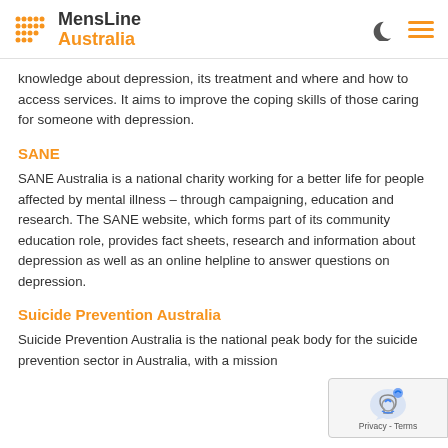[Figure (logo): MensLine Australia logo with orange dot grid and text]
knowledge about depression, its treatment and where and how to access services. It aims to improve the coping skills of those caring for someone with depression.
SANE
SANE Australia is a national charity working for a better life for people affected by mental illness – through campaigning, education and research. The SANE website, which forms part of its community education role, provides fact sheets, research and information about depression as well as an online helpline to answer questions on depression.
Suicide Prevention Australia
Suicide Prevention Australia is the national peak body for the suicide prevention sector in Australia, with a mission